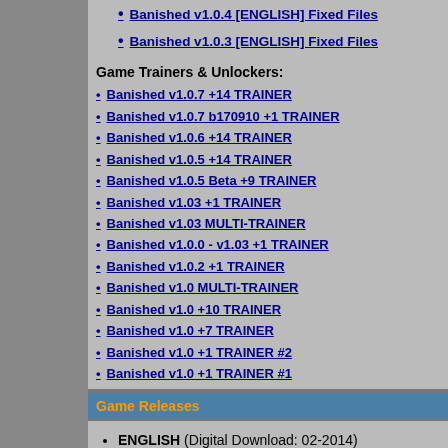Banished v1.0.4 [ENGLISH] Fixed Files
Banished v1.0.3 [ENGLISH] Fixed Files
Game Trainers & Unlockers:
Banished v1.0.7 +14 TRAINER
Banished v1.0.7 b170910 +1 TRAINER
Banished v1.0.6 +14 TRAINER
Banished v1.0.5 +14 TRAINER
Banished v1.0.5 Beta +9 TRAINER
Banished v1.03 +1 TRAINER
Banished v1.03 MULTI-TRAINER
Banished v1.0.0 - v1.03 +1 TRAINER
Banished v1.0.2 +1 TRAINER
Banished v1.0 MULTI-TRAINER
Banished v1.0 +10 TRAINER
Banished v1.0 +7 TRAINER
Banished v1.0 +1 TRAINER #2
Banished v1.0 +1 TRAINER #1
Game Releases
ENGLISH (Digital Download: 02-2014)
Related FileForums Posts
Banished